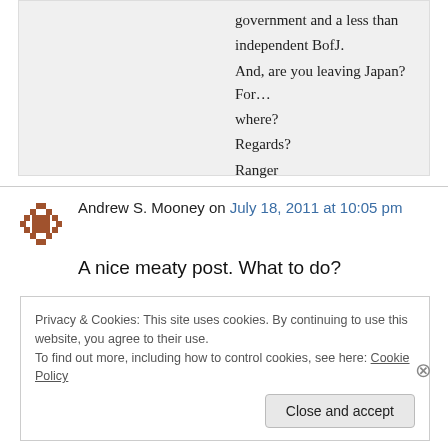government and a less than independent BofJ.
And, are you leaving Japan? For… where?
Regards?
Ranger
Andrew S. Mooney on July 18, 2011 at 10:05 pm
A nice meaty post. What to do?
Privacy & Cookies: This site uses cookies. By continuing to use this website, you agree to their use.
To find out more, including how to control cookies, see here: Cookie Policy
Close and accept